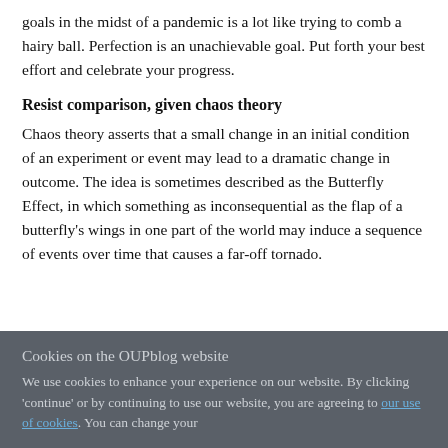goals in the midst of a pandemic is a lot like trying to comb a hairy ball. Perfection is an unachievable goal. Put forth your best effort and celebrate your progress.
Resist comparison, given chaos theory
Chaos theory asserts that a small change in an initial condition of an experiment or event may lead to a dramatic change in outcome. The idea is sometimes described as the Butterfly Effect, in which something as inconsequential as the flap of a butterfly's wings in one part of the world may induce a sequence of events over time that causes a far-off tornado.
Cookies on the OUPblog website
We use cookies to enhance your experience on our website. By clicking 'continue' or by continuing to use our website, you are agreeing to our use of cookies. You can change your